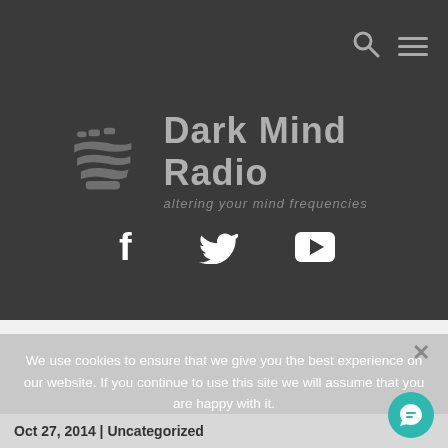[Figure (logo): Dark Mind Radio logo with stylized WiFi/wave skeleton hand icon and text 'Dark Mind Radio - altering your mind frequencies']
[Figure (infographic): Social media icons: Facebook (f), Twitter (bird), YouTube (play button) in white on dark background]
We use cookies to ensure that we give you the best experience on our website. If you continue to use this site we will assume that you are happy with it.
Ok
Oct 27, 2014 | Uncategorized